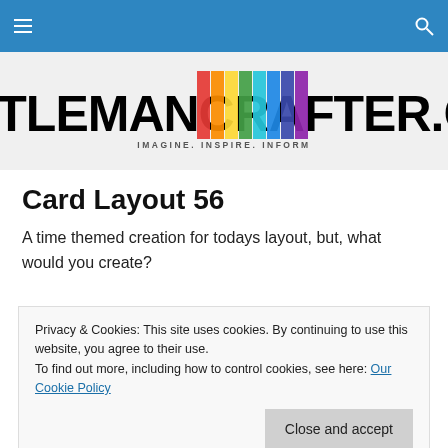Navigation bar with hamburger menu and search icon
[Figure (logo): GENTLEMANCRAFTER.COM logo with rainbow colored vertical bars and tagline IMAGINE. INSPIRE. INFORM]
Card Layout 56
A time themed creation for todays layout, but, what would you create?
Privacy & Cookies: This site uses cookies. By continuing to use this website, you agree to their use.
To find out more, including how to control cookies, see here: Our Cookie Policy
Close and accept